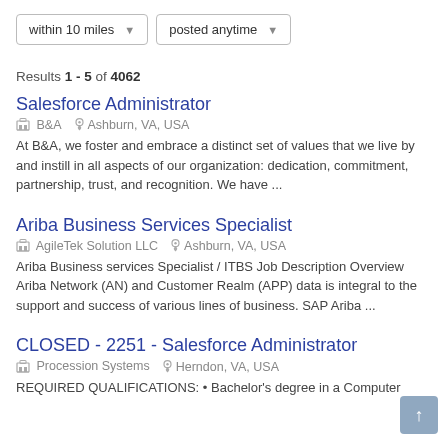[Figure (screenshot): Two filter dropdown buttons: 'within 10 miles' and 'posted anytime']
Results 1 - 5 of 4062
Salesforce Administrator
B&A   Ashburn, VA, USA
At B&A, we foster and embrace a distinct set of values that we live by and instill in all aspects of our organization: dedication, commitment, partnership, trust, and recognition. We have ...
Ariba Business Services Specialist
AgileTek Solution LLC   Ashburn, VA, USA
Ariba Business services Specialist / ITBS Job Description Overview Ariba Network (AN) and Customer Realm (APP) data is integral to the support and success of various lines of business. SAP Ariba ...
CLOSED - 2251 - Salesforce Administrator
Procession Systems   Herndon, VA, USA
REQUIRED QUALIFICATIONS: • Bachelor's degree in a Computer